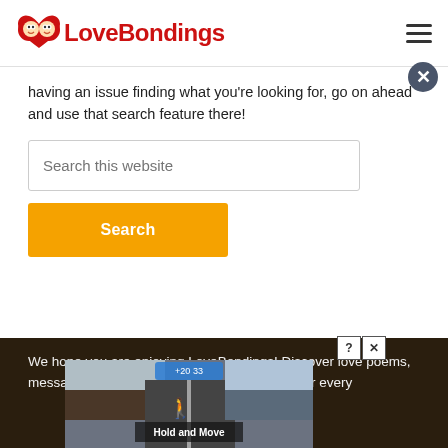LoveBondings
having an issue finding what you're looking for, go on ahead and use that search feature there!
Search this website
Search
We hope you are enjoying LoveBondings! Discover love poems, messages, letters, quotes, insights and more for every
[Figure (screenshot): Advertisement overlay with road/nature image and 'Hold and Move' text]